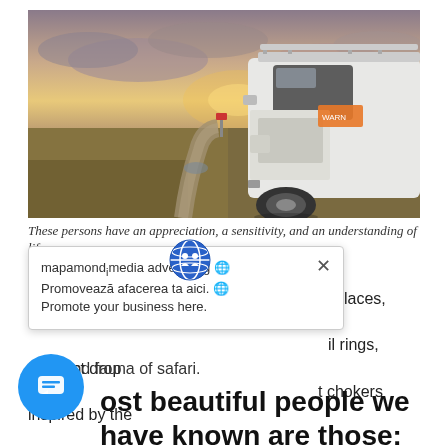[Figure (photo): A white Land Rover-style off-road vehicle with a roof rack parked on a remote gravel road at sunset, with dramatic cloudy sky and open moorland in the background.]
These persons have an appreciation, a sensitivity, and an understanding of life.
[Figure (infographic): A popup/tooltip overlay with a globe icon at top, a close (X) button, and text: 'mapamondᵢmedia advertising 🌐 / Promovează afacerea ta aici. 🌐 / Promote your business here.' Partially overlapping body text reading '...cklaces, adorned with ...il rings, abstract drop ...t chokers inspired by the flora and fauna of safari.']
...necklaces, adorned with ...nail rings, abstract drop ...t chokers inspired by the flora and fauna of safari.
...ost beautiful people we have known are those: